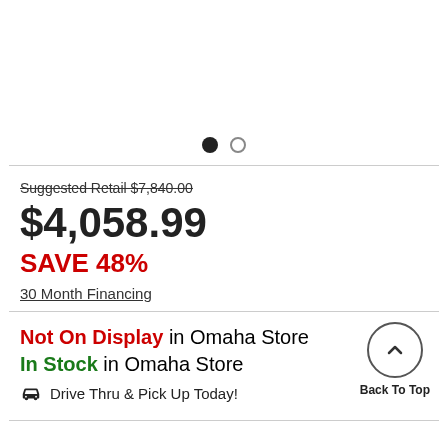[Figure (other): Product image area with carousel dots (one filled black, one empty circle)]
Suggested Retail $7,840.00
$4,058.99
SAVE 48%
30 Month Financing
Not On Display in Omaha Store
In Stock in Omaha Store
Drive Thru & Pick Up Today!
Back To Top